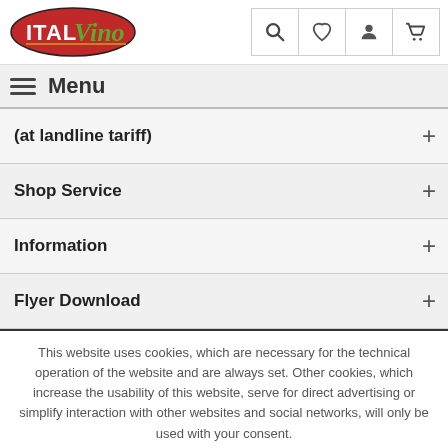[Figure (logo): ItalVino logo: red oval with white text ITAL and green italic script Vino]
Menu
(at landline tariff) +
Shop Service +
Information +
Flyer Download +
This website uses cookies, which are necessary for the technical operation of the website and are always set. Other cookies, which increase the usability of this website, serve for direct advertising or simplify interaction with other websites and social networks, will only be used with your consent.
Decline | Accept all | Configure